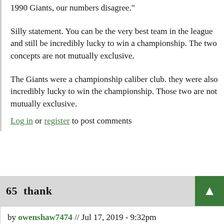1990 Giants, our numbers disagree."
Silly statement. You can be the very best team in the league and still be incredibly lucky to win a championship. The two concepts are not mutually exclusive.
The Giants were a championship caliber club. they were also incredibly lucky to win the championship. Those two are not mutually exclusive.
Log in or register to post comments
65  thank
by owenshaw7474 // Jul 17, 2019 - 9:32pm
Really the blogging is spreading its wings